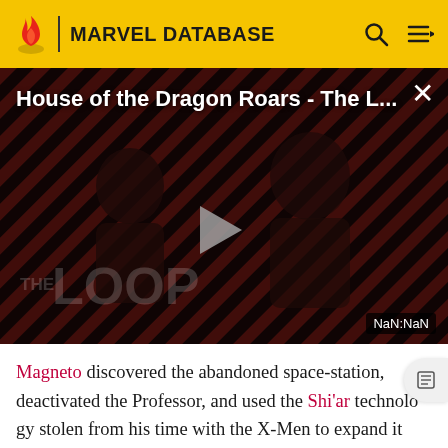MARVEL DATABASE
[Figure (screenshot): Video player showing 'House of the Dragon Roars - The L...' with a dark background of diagonal red and black stripes, two silhouetted figures, a play button in the center, 'THE LOOP' watermark text, and a NaN:NaN timer in the bottom right. A close (×) button is in the top right corner.]
Magneto discovered the abandoned space-station, deactivated the Professor, and used the Shi'ar technology stolen from his time with the X-Men to expand it with pieces from his older space station, Asteroid M, and create Avalon. After Magneto sent out his new servant